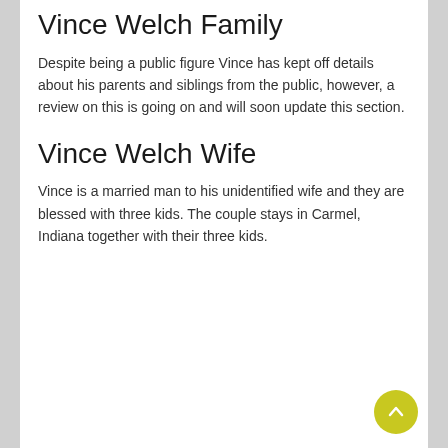Vince Welch Family
Despite being a public figure Vince has kept off details about his parents and siblings from the public, however, a review on this is going on and will soon update this section.
Vince Welch Wife
Vince is a married man to his unidentified wife and they are blessed with three kids. The couple stays in Carmel, Indiana together with their three kids.